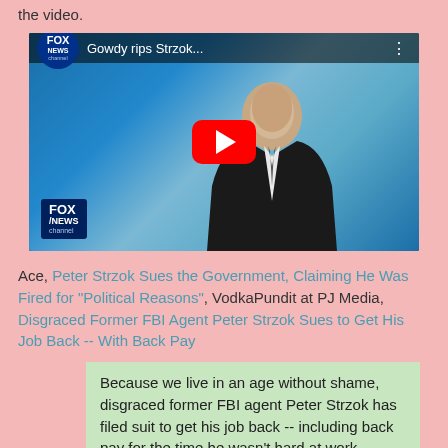the video.
[Figure (screenshot): YouTube video thumbnail showing Fox News video titled 'Gowdy rips Strzok...' with a man in a dark suit visible and a red YouTube play button overlay. Fox News channel logo and watermark visible.]
Ace, Peter Strzok Sues the Government, Claiming He Was Fired for "Political Reasons", VodkaPundit at PJ Media, Disgraced Former FBI Agent Peter Strzok Sues to Get His Job Back -- With Back Pay
Because we live in an age without shame, disgraced former FBI agent Peter Strzok has filed suit to get his job back -- including back pay for the time he wasn't hard at work protecting